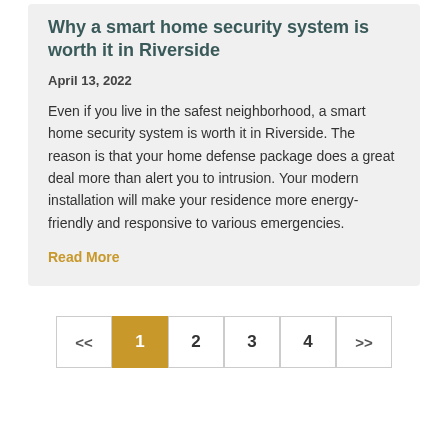Why a smart home security system is worth it in Riverside
April 13, 2022
Even if you live in the safest neighborhood, a smart home security system is worth it in Riverside. The reason is that your home defense package does a great deal more than alert you to intrusion. Your modern installation will make your residence more energy-friendly and responsive to various emergencies.
Read More